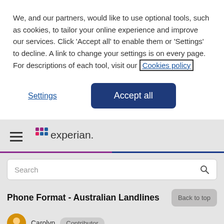We, and our partners, would like to use optional tools, such as cookies, to tailor your online experience and improve our services. Click 'Accept all' to enable them or 'Settings' to decline. A link to change your settings is on every page. For descriptions of each tool, visit our Cookies policy
Settings
Accept all
[Figure (logo): Experian logo with colored dot grid and wordmark]
Search
Phone Format - Australian Landlines
Carolyn   Contributor